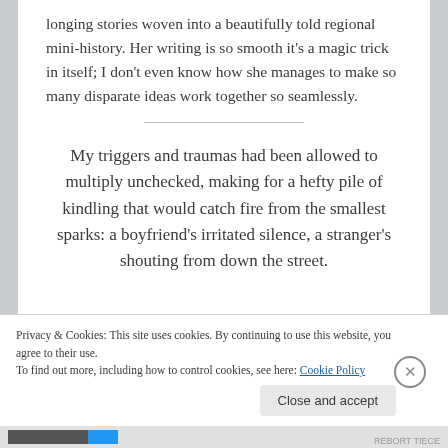longing stories woven into a beautifully told regional mini-history. Her writing is so smooth it's a magic trick in itself; I don't even know how she manages to make so many disparate ideas work together so seamlessly.
My triggers and traumas had been allowed to multiply unchecked, making for a hefty pile of kindling that would catch fire from the smallest sparks: a boyfriend's irritated silence, a stranger's shouting from down the street.
Privacy & Cookies: This site uses cookies. By continuing to use this website, you agree to their use.
To find out more, including how to control cookies, see here: Cookie Policy